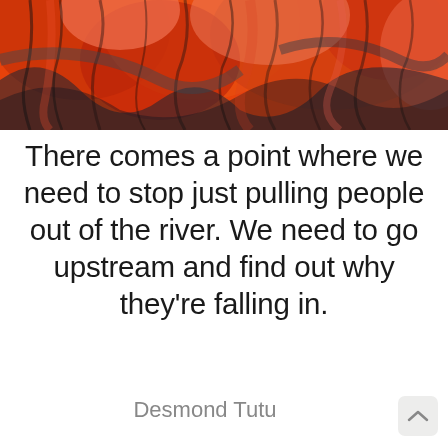[Figure (illustration): Abstract colorful artwork with orange, red, pink, and dark teal swirling brushstroke patterns filling the top portion of the image.]
There comes a point where we need to stop just pulling people out of the river. We need to go upstream and find out why they're falling in.
Desmond Tutu